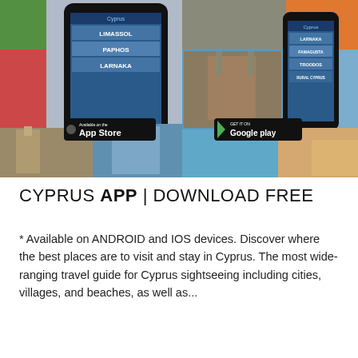[Figure (photo): Collage of Cyprus travel images with two smartphones showing the Cyprus app with city menus (LIMASSOL, PAPHOS, LARNAKA, FAMAGUSTA, TROODOS, RURAL CYPRUS), App Store and Google Play download badges overlaid on scenic travel photos of beaches, landmarks, and food.]
CYPRUS APP | DOWNLOAD FREE
* Available on ANDROID and IOS devices. Discover where the best places are to visit and stay in Cyprus. The most wide-ranging travel guide for Cyprus sightseeing including cities, villages, and beaches, as well as...